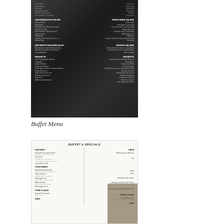[Figure (photo): Photo of a restaurant buffet menu card with dark background. Left column shows sections: HAUSGEMACHTE SALATE, DER BESTE RÄUCHERLACHS, BAGUETTE. Right column shows: FRESH MADE SALADS, SMOKED SALMON, DESSERTS with various items listed under each.]
Buffet Menu
[Figure (photo): Photo of a light-colored restaurant menu card titled BUFFET A SPECIALS. Shows sections including SOAT BROT, FLEISCH/MEAT on left, with STEAK & SALAD section on right. Price column visible on right side.]